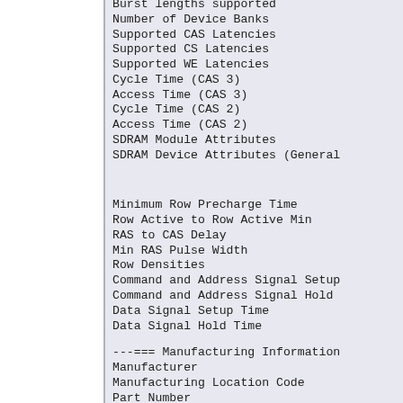Burst lengths supported
Number of Device Banks
Supported CAS Latencies
Supported CS Latencies
Supported WE Latencies
Cycle Time (CAS 3)
Access Time (CAS 3)
Cycle Time (CAS 2)
Access Time (CAS 2)
SDRAM Module Attributes
SDRAM Device Attributes (General)
Minimum Row Precharge Time
Row Active to Row Active Min
RAS to CAS Delay
Min RAS Pulse Width
Row Densities
Command and Address Signal Setup
Command and Address Signal Hold
Data Signal Setup Time
Data Signal Hold Time
---=== Manufacturing Information
Manufacturer
Manufacturing Location Code
Part Number
Revision Code
Manufacturing Date